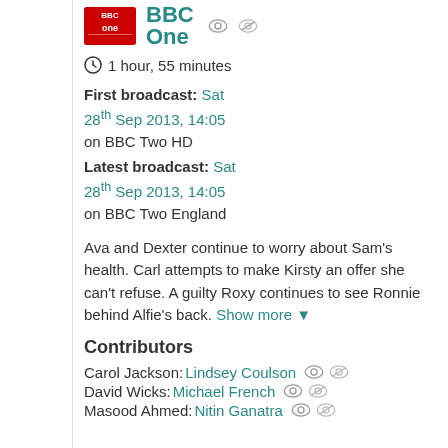[Figure (logo): BBC One channel logo - red rectangle with BBC One text, followed by 'BBC One' text in teal]
1 hour, 55 minutes
First broadcast: Sat 28th Sep 2013, 14:05 on BBC Two HD
Latest broadcast: Sat 28th Sep 2013, 14:05 on BBC Two England
Ava and Dexter continue to worry about Sam's health. Carl attempts to make Kirsty an offer she can't refuse. A guilty Roxy continues to see Ronnie behind Alfie's back. Show more ▼
Contributors
Carol Jackson: Lindsey Coulson
David Wicks: Michael French
Masood Ahmed: Nitin Ganatra